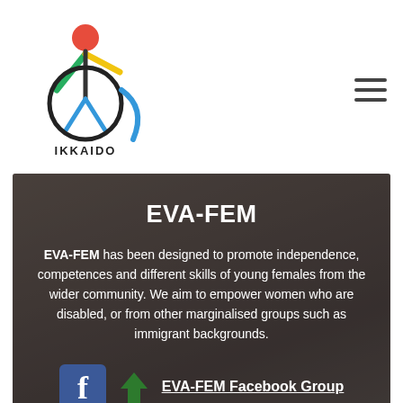[Figure (logo): IKKAIDO logo with colorful figure and circular element]
[Figure (photo): Hero section with dark overlaid background photo showing people, containing EVA-FEM title, descriptive text, and Facebook group link]
EVA-FEM
EVA-FEM has been designed to promote independence, competences and different skills of young females from the wider community. We aim to empower women who are disabled, or from other marginalised groups such as immigrant backgrounds.
EVA-FEM Facebook Group
[Figure (photo): Photo of young people seated at tables in a meeting or workshop setting]